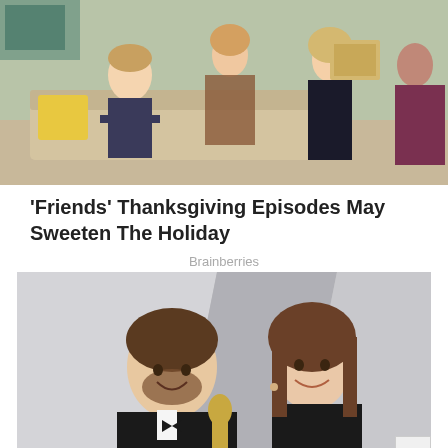[Figure (photo): TV show scene with multiple actors sitting in a living room set]
'Friends' Thanksgiving Episodes May Sweeten The Holiday
Brainberries
[Figure (photo): Two people smiling at a formal event, a man in a tuxedo and a woman in black]
Search for
01. How To Make Perfect Hard Boiled
02. Easy Egg Salad Recipe
Yahoo! Search | Sponsored